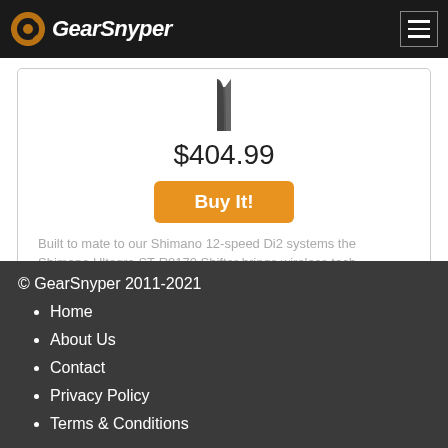GearSnyper
[Figure (photo): Partial product image of a Shimano shifter component, shown cropped at the top of the product card]
$404.99
Buy It!
Built to mate to our Shimano 12-speed Di2 systems the Shimano Ultegra ST-R8170 Shifter brings wireless tech...
Competitive Cyclist
Previous 1 2 3 4 5 6 7 8 Next
© GearSnyper 2011-2021
Home
About Us
Contact
Privacy Policy
Terms & Conditions